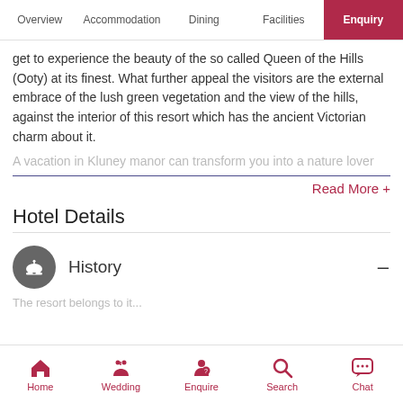Overview | Accommodation | Dining | Facilities | Enquiry
get to experience the beauty of the so called Queen of the Hills (Ooty) at its finest. What further appeal the visitors are the external embrace of the lush green vegetation and the view of the hills, against the interior of this resort which has the ancient Victorian charm about it.
A vacation in Kluney manor can transform you into a nature lover
Read More +
Hotel Details
History
The resort belongs to it...